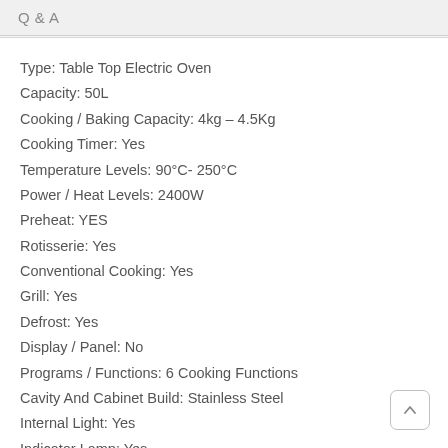Q & A
Type: Table Top Electric Oven
Capacity: 50L
Cooking / Baking Capacity: 4kg – 4.5Kg
Cooking Timer: Yes
Temperature Levels: 90°C- 250°C
Power / Heat Levels: 2400W
Preheat: YES
Rotisserie: Yes
Conventional Cooking: Yes
Grill: Yes
Defrost: Yes
Display / Panel: No
Programs / Functions: 6 Cooking Functions
Cavity And Cabinet Build: Stainless Steel
Internal Light: Yes
Indicator Lamp: Yes